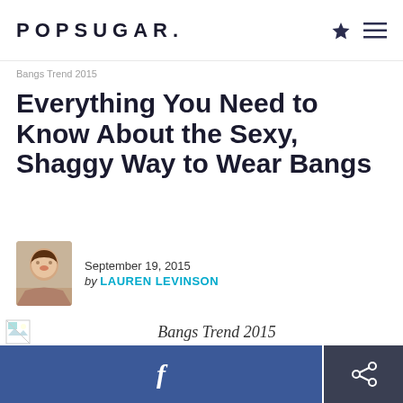POPSUGAR.
Bangs Trend 2015
Everything You Need to Know About the Sexy, Shaggy Way to Wear Bangs
September 19, 2015
by LAUREN LEVINSON
Bangs Trend 2015
f [Facebook share button] [Share button]